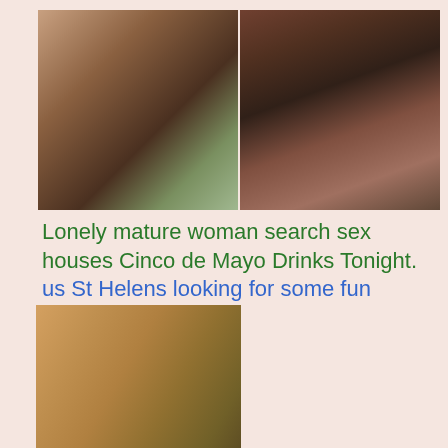[Figure (photo): Two photos of women side by side at top of page]
Lonely mature woman search sex houses Cinco de Mayo Drinks Tonight. us St Helens looking for some fun
[Figure (photo): Three stacked photos of women on the lower left of the page]